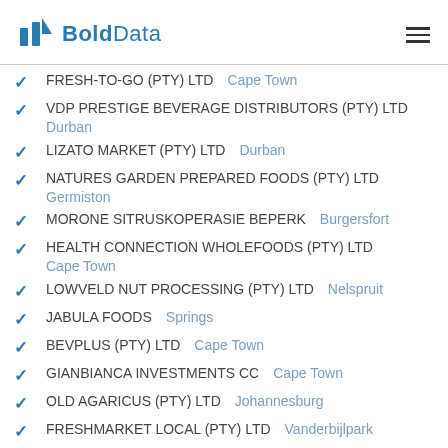BoldData
FRESH-TO-GO (PTY) LTD    Cape Town
VDP PRESTIGE BEVERAGE DISTRIBUTORS (PTY) LTD    Durban
LIZATO MARKET (PTY) LTD    Durban
NATURES GARDEN PREPARED FOODS (PTY) LTD    Germiston
MORONE SITRUSKOPERASIE BEPERK    Burgersfort
HEALTH CONNECTION WHOLEFOODS (PTY) LTD    Cape Town
LOWVELD NUT PROCESSING (PTY) LTD    Nelspruit
JABULA FOODS    Springs
BEVPLUS (PTY) LTD    Cape Town
GIANBIANCA INVESTMENTS CC    Cape Town
OLD AGARICUS (PTY) LTD    Johannesburg
FRESHMARKET LOCAL (PTY) LTD    Vanderbijlpark